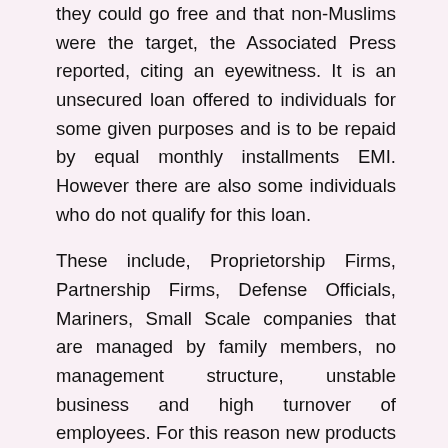they could go free and that non-Muslims were the target, the Associated Press reported, citing an eyewitness. It is an unsecured loan offered to individuals for some given purposes and is to be repaid by equal monthly installments EMI. However there are also some individuals who do not qualify for this loan.
These include, Proprietorship Firms, Partnership Firms, Defense Officials, Mariners, Small Scale companies that are managed by family members, no management structure, unstable business and high turnover of employees. For this reason new products as well as services have been implemented for the satisfaction of the customer. SCB launched several new products for this purpose. SCB have some unique products in the market for which it is now the market leader in respect of providing services and implementing